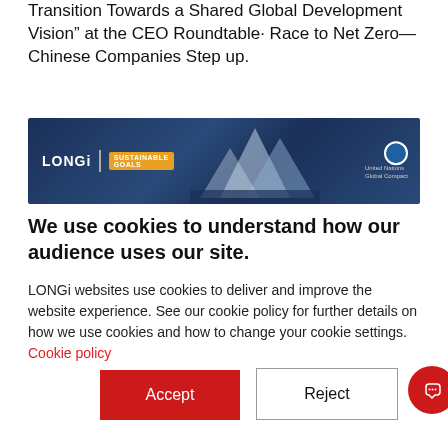Transition Towards a Shared Global Development Vision” at the CEO Roundtable· Race to Net Zero—Chinese Companies Step up.
[Figure (photo): LONGi banner with logo, SDG Goals badge, mountain silhouettes, and United Nations Global Compact logo on a dark blue background]
We use cookies to understand how our audience uses our site.
LONGi websites use cookies to deliver and improve the website experience. See our cookie policy for further details on how we use cookies and how to change your cookie settings. Cookie policy